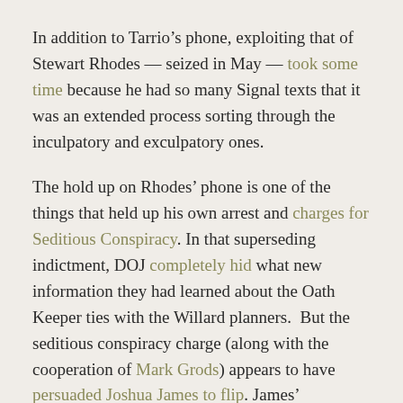In addition to Tarrio's phone, exploiting that of Stewart Rhodes — seized in May — took some time because he had so many Signal texts that it was an extended process sorting through the inculpatory and exculpatory ones.
The hold up on Rhodes' phone is one of the things that held up his own arrest and charges for Seditious Conspiracy. In that superseding indictment, DOJ completely hid what new information they had learned about the Oath Keeper ties with the Willard planners. But the seditious conspiracy charge (along with the cooperation of Mark Grods) appears to have persuaded Joshua James to flip. James' cooperation would provide lots of new testimony about what Stone and other VIPs were doing on January 5 and 6,